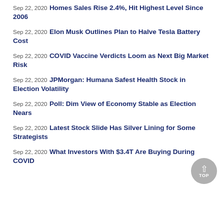Sep 22, 2020 Homes Sales Rise 2.4%, Hit Highest Level Since 2006
Sep 22, 2020 Elon Musk Outlines Plan to Halve Tesla Battery Cost
Sep 22, 2020 COVID Vaccine Verdicts Loom as Next Big Market Risk
Sep 22, 2020 JPMorgan: Humana Safest Health Stock in Election Volatility
Sep 22, 2020 Poll: Dim View of Economy Stable as Election Nears
Sep 22, 2020 Latest Stock Slide Has Silver Lining for Some Strategists
Sep 22, 2020 What Investors With $3.4T Are Buying During COVID